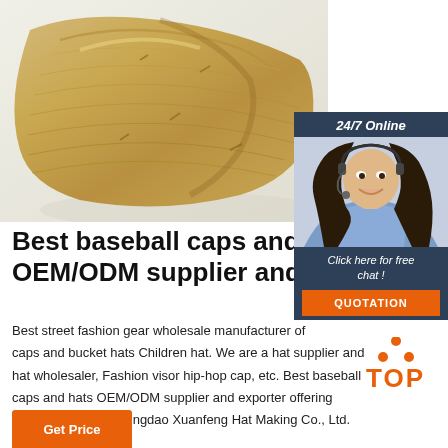[Figure (photo): Close-up photo of a khaki/tan distressed baseball cap fabric showing texture and stitching]
[Figure (photo): 24/7 Online chat widget with a smiling female customer service agent wearing a headset, dark blue background, with 'Click here for free chat!' text and orange QUOTATION button]
Best baseball caps and hats OEM/ODM supplier and
Best street fashion gear wholesale manufacturer of caps and bucket hats Children hat. We are a hat supplier and hat wholesaler, Fashion visor hip-hop cap, etc. Best baseball caps and hats OEM/ODM supplier and exporter offering wholesale prices - Qingdao Xuanfeng Hat Making Co., Ltd.
[Figure (logo): Orange TOP logo with orange dot triangle above the word TOP]
[Figure (other): Orange 'Get Price' button at bottom left]